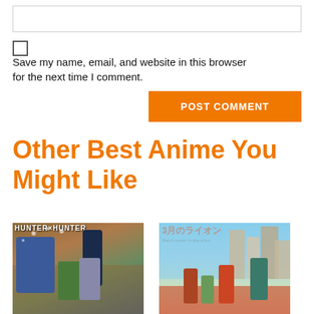[input field]
Save my name, email, and website in this browser for the next time I comment.
POST COMMENT
Other Best Anime You Might Like
[Figure (illustration): Hunter x Hunter anime poster showing multiple characters including a blonde character in blue, a character in green, and others against a rocky background]
[Figure (illustration): 3月のライオン (March comes in like a lion) anime poster showing characters in front of city buildings with blue sky]